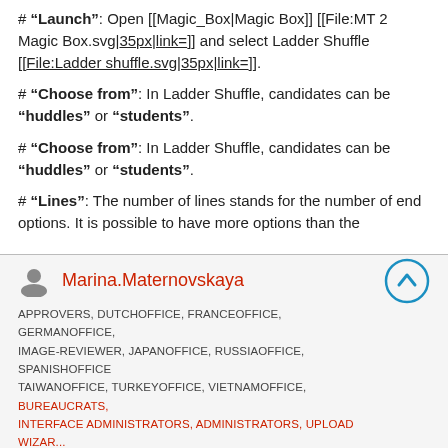# '''Launch''': Open [[Magic_Box|Magic Box]] [[File:MT 2 Magic Box.svg|35px|link=]] and select Ladder Shuffle [[File:Ladder shuffle.svg|35px|link=]].
# '''Choose from''': In Ladder Shuffle, candidates can be '''huddles''' or '''students'''.
# '''Choose from''': In Ladder Shuffle, candidates can be '''huddles''' or '''students'''.
# '''Lines''': The number of lines stands for the number of end options. It is possible to have more options than the
Marina.Maternovskaya
APPROVERS, DUTCHOFFICE, FRANCEOFFICE, GERMANOFFICE, IMAGE-REVIEWER, JAPANOFFICE, RUSSIAOFFICE, SPANISHOFFICE, TAIWANOFFICE, TURKEYOFFICE, VIETNAMOFFICE, BUREAUCRATS, INTERFACE ADMINISTRATORS, ADMINISTRATORS, UPLOAD WIZARDS, CAMPAIGN EDITORS
6,793